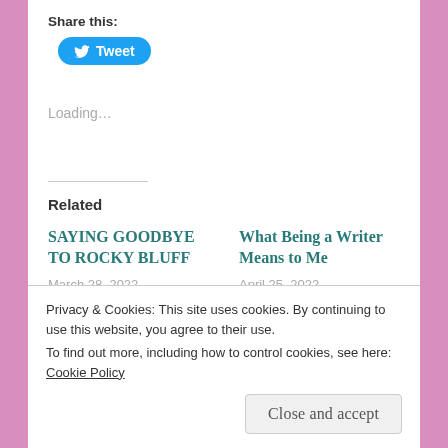Share this:
[Figure (other): Twitter Tweet button - blue rounded button with bird icon and 'Tweet' text]
Loading...
Related
SAYING GOODBYE TO ROCKY BLUFF
March 28, 2022
What Being a Writer Means to Me
April 25, 2022
Privacy & Cookies: This site uses cookies. By continuing to use this website, you agree to their use.
To find out more, including how to control cookies, see here: Cookie Policy
Close and accept